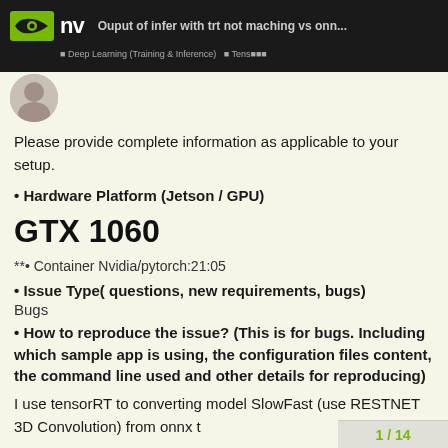Ouput of infer with trt not maching vs onn... | Deep Learning (Training & Inference) | TensorRT
Please provide complete information as applicable to your setup.
Hardware Platform (Jetson / GPU)
GTX 1060
**• Container Nvidia/pytorch:21:05
Issue Type( questions, new requirements, bugs)
Bugs
How to reproduce the issue? (This is for bugs. Including which sample app is using, the configuration files content, the command line used and other details for reproducing)
I use tensorRT to converting model SlowFast (use RESTNET 3D Convolution) from onnx t
1 / 14